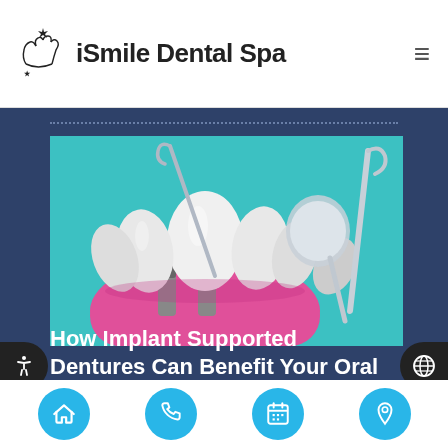iSmile Dental Spa
[Figure (photo): Dental implant model showing tooth implants in pink gum material with white teeth, held near dental tools (mirror and probe) on teal/blue background]
How Implant Supported Dentures Can Benefit Your Oral
Navigation icons: home, phone, calendar, location